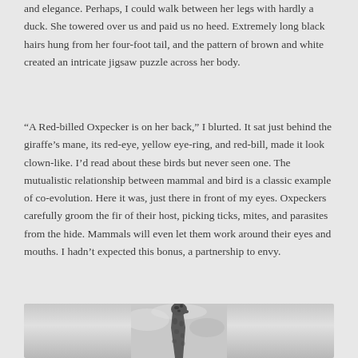and elegance. Perhaps, I could walk between her legs with hardly a duck. She towered over us and paid us no heed. Extremely long black hairs hung from her four-foot tail, and the pattern of brown and white created an intricate jigsaw puzzle across her body.
“A Red-billed Oxpecker is on her back,” I blurted. It sat just behind the giraffe’s mane, its red-eye, yellow eye-ring, and red-bill, made it look clown-like. I’d read about these birds but never seen one. The mutualistic relationship between mammal and bird is a classic example of co-evolution. Here it was, just there in front of my eyes. Oxpeckers carefully groom the fir of their host, picking ticks, mites, and parasites from the hide. Mammals will even let them work around their eyes and mouths. I hadn’t expected this bonus, a partnership to envy.
[Figure (photo): Black and white photograph of a giraffe's head and neck against a cloudy sky, cropped at the bottom of the page.]